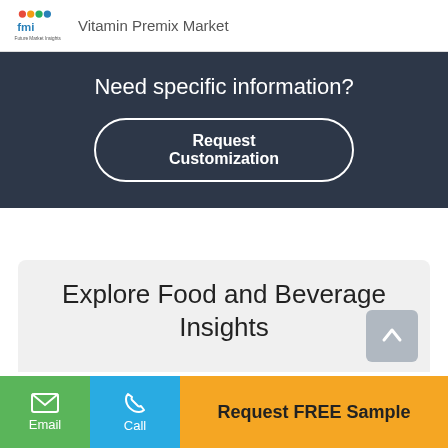Vitamin Premix Market
Need specific information?
Request Customization
Explore Food and Beverage Insights
Email
Call
Request FREE Sample